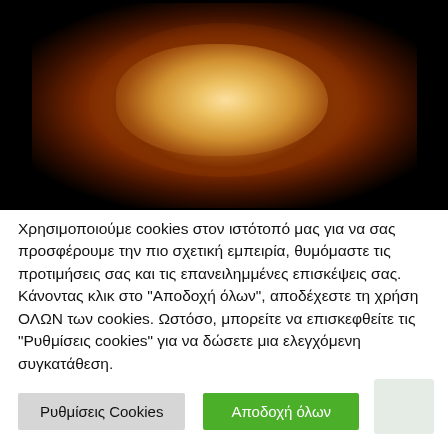[Figure (photo): Medical imaging scan showing a cross-sectional view of what appears to be a blood vessel or organ, rendered in orange/amber tones against a black background — likely a CT angiography or intravascular ultrasound image.]
Χρησιμοποιούμε cookies στον ιστότοπό μας για να σας προσφέρουμε την πιο σχετική εμπειρία, θυμόμαστε τις προτιμήσεις σας και τις επανειλημμένες επισκέψεις σας. Κάνοντας κλικ στο "Αποδοχή όλων", αποδέχεστε τη χρήση ΟΛΩΝ των cookies. Ωστόσο, μπορείτε να επισκεφθείτε τις "Ρυθμίσεις cookies" για να δώσετε μια ελεγχόμενη συγκατάθεση.
Ρυθμίσεις Cookies
Αποδοχή όλων